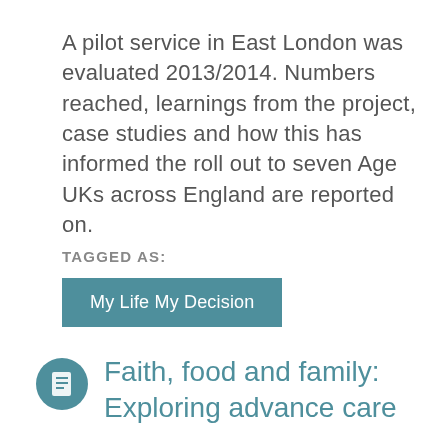A pilot service in East London was evaluated 2013/2014. Numbers reached, learnings from the project, case studies and how this has informed the roll out to seven Age UKs across England are reported on.
TAGGED AS:
My Life My Decision
Faith, food and family: Exploring advance care